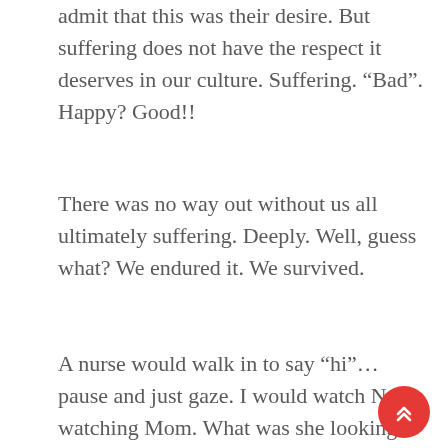admit that this was their desire. But suffering does not have the respect it deserves in our culture. Suffering. “Bad”. Happy? Good!!
There was no way out without us all ultimately suffering. Deeply. Well, guess what? We endured it. We survived.
A nurse would walk in to say “hi”… pause and just gaze. I would watch Nurse watching Mom. What was she looking for? I could see that they knew what